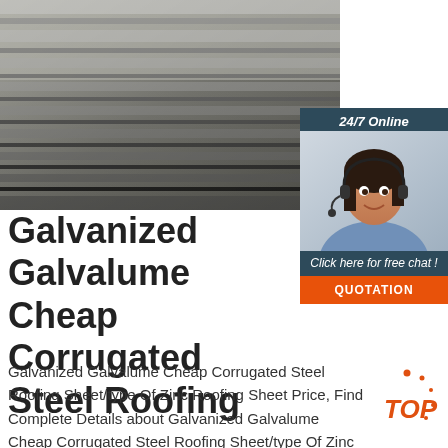[Figure (photo): Stacked corrugated galvanized steel sheets shown from an angle, gray metallic surface]
[Figure (infographic): 24/7 Online chat widget with a customer service representative wearing a headset, dark blue background, orange QUOTATION button]
Galvanized Galvalume Cheap Corrugated Steel Roofing
Galvanized Galvalume Cheap Corrugated Steel Roofing Sheet/type Of Zinc Roofing Sheet Price, Find Complete Details about Galvanized Galvalume Cheap Corrugated Steel Roofing Sheet/type Of Zinc Roofing Sheet Price,Type Of Roofing Sheet,Roofing Sheet Price,Zinc Roofing